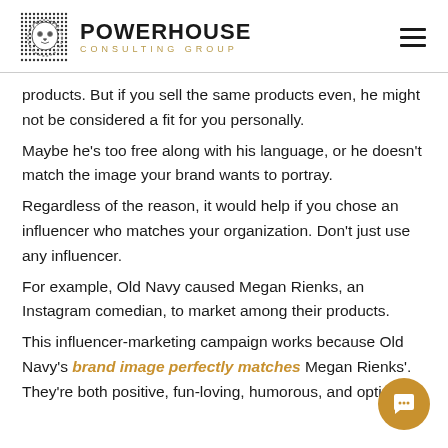POWERHOUSE CONSULTING GROUP
products. But if you sell the same products even, he might not be considered a fit for you personally.
Maybe he's too free along with his language, or he doesn't match the image your brand wants to portray.
Regardless of the reason, it would help if you chose an influencer who matches your organization. Don't just use any influencer.
For example, Old Navy caused Megan Rienks, an Instagram comedian, to market among their products.
This influencer-marketing campaign works because Old Navy's brand image perfectly matches Megan Rienks'. They're both positive, fun-loving, humorous, and optimi...